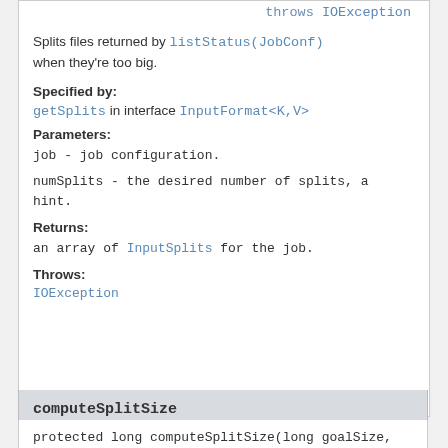throws IOException
Splits files returned by listStatus(JobConf) when they're too big.
Specified by:
getSplits in interface InputFormat<K,V>
Parameters:
job - job configuration.
numSplits - the desired number of splits, a hint.
Returns:
an array of InputSplits for the job.
Throws:
IOException
computeSplitSize
protected long computeSplitSize(long goalSize,
                              long minSize,
                              long blockSize)